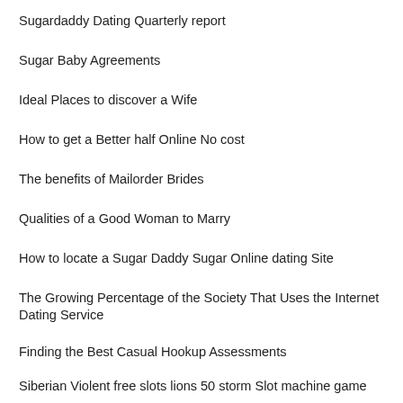Sugardaddy Dating Quarterly report
Sugar Baby Agreements
Ideal Places to discover a Wife
How to get a Better half Online No cost
The benefits of Mailorder Brides
Qualities of a Good Woman to Marry
How to locate a Sugar Daddy Sugar Online dating Site
The Growing Percentage of the Society That Uses the Internet Dating Service
Finding the Best Casual Hookup Assessments
Siberian Violent free slots lions 50 storm Slot machine game